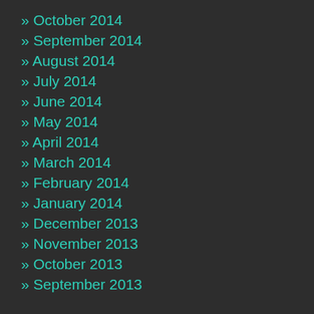» October 2014
» September 2014
» August 2014
» July 2014
» June 2014
» May 2014
» April 2014
» March 2014
» February 2014
» January 2014
» December 2013
» November 2013
» October 2013
» September 2013